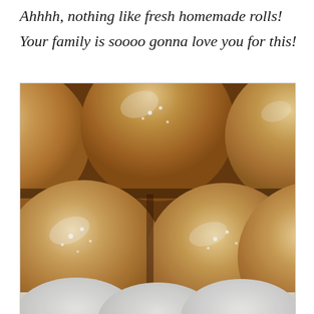Ahhhh, nothing like fresh homemade rolls!
Your family is soooo gonna love you for this!
[Figure (photo): Close-up photo of freshly baked homemade dinner rolls in a baking pan, golden brown tops with a slight sheen, tightly packed together, with a second partial view of white unbaked or lighter rolls at the bottom edge.]